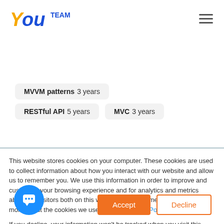[Figure (logo): YouTeam logo with stylized 'You' in blue and orange italic font and 'TEAM' in small blue caps]
MVVM patterns 3 years
RESTful API 5 years
MVC 3 years
This website stores cookies on your computer. These cookies are used to collect information about how you interact with our website and allow us to remember you. We use this information in order to improve and customize your browsing experience and for analytics and metrics about our visitors both on this website and other media. To find out more about the cookies we use, see our Privacy Policy.
If you decline, your information won't be tracked when you visit this website. A single cookie will be used in your browser to remember your preference not to be tracked.